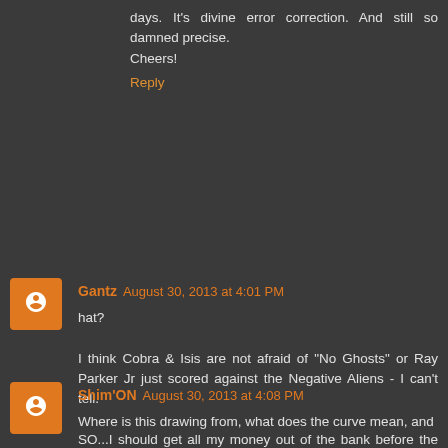days. It's divine error correction. And still so damned precise.
Cheers!
Reply
Gantz  August 30, 2013 at 4:01 PM
hat?

I think Cobra & Isis are not afraid of "No Ghosts" or Ray Parker Jr just scored against the Negative Aliens - I can't tell.

SO...I should get all my money out of the bank before the 15-20th of Sept (according the graph?)
Reply
Shim'ON  August 30, 2013 at 4:08 PM
Where is this drawing from, what does the curve mean, and the date today?